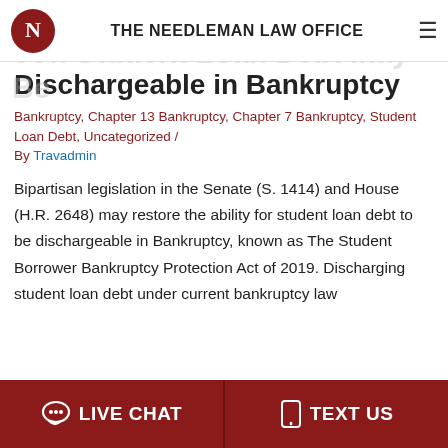THE NEEDLEMAN LAW OFFICE
Soon Student Loan Debt May Be Dischargeable in Bankruptcy
Bankruptcy, Chapter 13 Bankruptcy, Chapter 7 Bankruptcy, Student Loan Debt, Uncategorized / By Travadmin
Bipartisan legislation in the Senate (S. 1414) and House (H.R. 2648) may restore the ability for student loan debt to be dischargeable in Bankruptcy, known as The Student Borrower Bankruptcy Protection Act of 2019. Discharging student loan debt under current bankruptcy law
LIVE CHAT  TEXT US